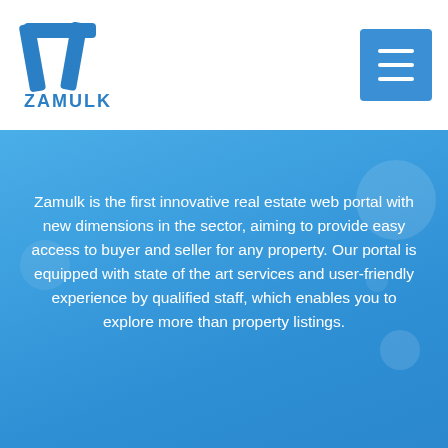[Figure (logo): Zamulk logo — stylized Z/Y letter mark in blue with hashtag, text ZAMULK below]
Zamulk is the first innovative real estate web portal with new dimensions in the sector, aiming to provide easy access to buyer and seller for any property. Our portal is equipped with state of the art services and user-friendly experience by qualified staff, which enables you to explore more than property listings.
For more Information...
[Figure (infographic): Six social media icons in white circles: Facebook, Twitter, Instagram, LinkedIn, Skype, YouTube]
[Figure (photo): Grayscale cityscape photo showing mosque minarets and skyline]